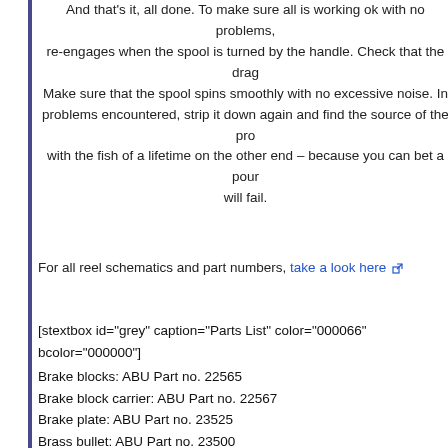And that's it, all done. To make sure all is working ok with no problems, re-engages when the spool is turned by the handle. Check that the drag Make sure that the spool spins smoothly with no excessive noise. In problems encountered, strip it down again and find the source of the pro with the fish of a lifetime on the other end – because you can bet a pour will fail.
For all reel schematics and part numbers, take a look here
[stextbox id="grey" caption="Parts List" color="000066" bcolor="000000"]
Brake blocks: ABU Part no. 22565
Brake block carrier: ABU Part no. 22567
Brake plate: ABU Part no. 23525
Brass bullet: ABU Part no. 23500
Cage: ABU Part no. 811529
Circlip: ABU Part no. 4490
Clutch release arm: ABU Part no. 22077
Clutch release push button: ABU Part no. 20671
Connector arm: ABU Part no. 20685
Drag sprung washers: ABU Part no. 5131
Drag washers – fibre: ABU Part no. 13169 and 20907
Drag washers – stainless steel : ABU Part nos. 20906, 20905 and 20960